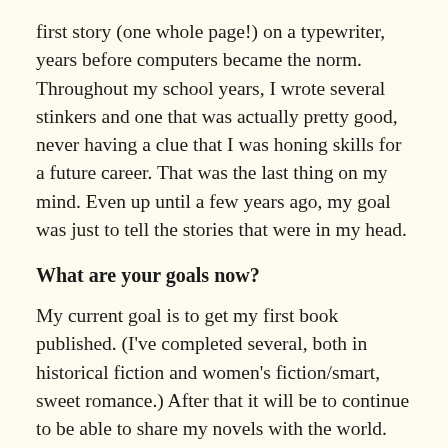first story (one whole page!) on a typewriter, years before computers became the norm. Throughout my school years, I wrote several stinkers and one that was actually pretty good, never having a clue that I was honing skills for a future career. That was the last thing on my mind. Even up until a few years ago, my goal was just to tell the stories that were in my head.
What are your goals now?
My current goal is to get my first book published. (I've completed several, both in historical fiction and women's fiction/smart, sweet romance.) After that it will be to continue to be able to share my novels with the world. But that's just the distribution, behind it all the goal remains the same: tell the stories that are desperate to get out of my brain. If I